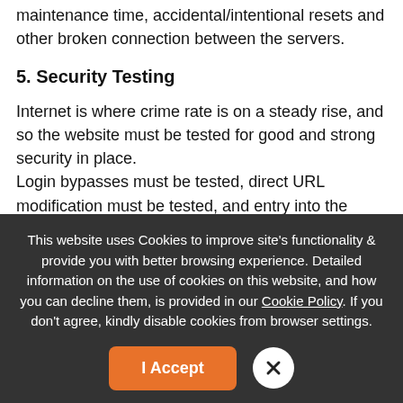check for proper handling of errors such as maintenance time, accidental/intentional resets and other broken connection between the servers.
5. Security Testing
Internet is where crime rate is on a steady rise, and so the website must be tested for good and strong security in place. Login bypasses must be tested, direct URL modification must be tested, and entry into the website through invalid login details
This website uses Cookies to improve site’s functionality & provide you with better browsing experience. Detailed information on the use of cookies on this website, and how you can decline them, is provided in our Cookie Policy. If you don’t agree, kindly disable cookies from browser settings.
I Accept
✕